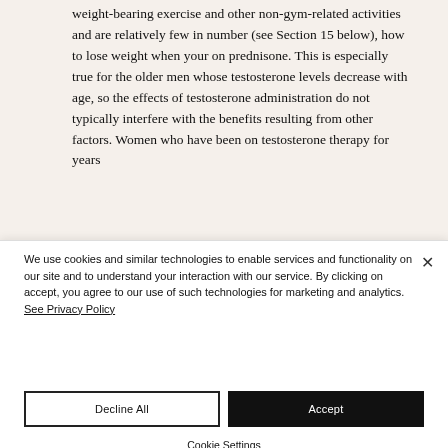weight-bearing exercise and other non-gym-related activities and are relatively few in number (see Section 15 below), how to lose weight when your on prednisone. This is especially true for the older men whose testosterone levels decrease with age, so the effects of testosterone administration do not typically interfere with the benefits resulting from other factors. Women who have been on testosterone therapy for years
We use cookies and similar technologies to enable services and functionality on our site and to understand your interaction with our service. By clicking on accept, you agree to our use of such technologies for marketing and analytics. See Privacy Policy
Decline All
Accept
Cookie Settings